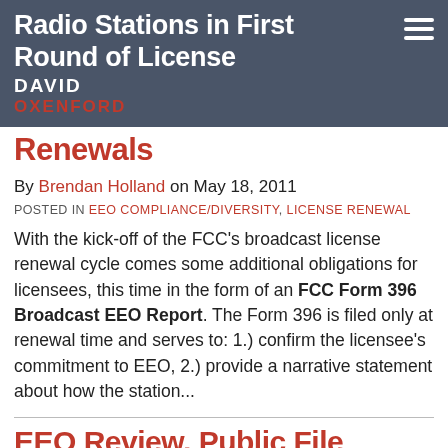Radio Stations in First Round of License Renewals
Radio Stations in First Round of License Renewals
By Brendan Holland on May 18, 2011
POSTED IN EEO COMPLIANCE/DIVERSITY, LICENSE RENEWAL
With the kick-off of the FCC's broadcast license renewal cycle comes some additional obligations for licensees, this time in the form of an FCC Form 396 Broadcast EEO Report. The Form 396 is filed only at renewal time and serves to: 1.) confirm the licensee's commitment to EEO, 2.) provide a narrative statement about how the station...
EEO Review, Public File